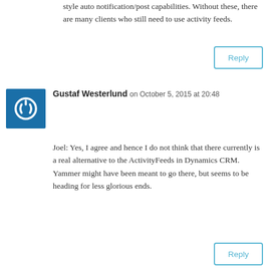style auto notification/post capabilities. Without these, there are many clients who still need to use activity feeds.
Reply
Gustaf Westerlund on October 5, 2015 at 20:48
Joel: Yes, I agree and hence I do not think that there currently is a real alternative to the ActivityFeeds in Dynamics CRM. Yammer might have been meant to go there, but seems to be heading for less glorious ends.
Reply